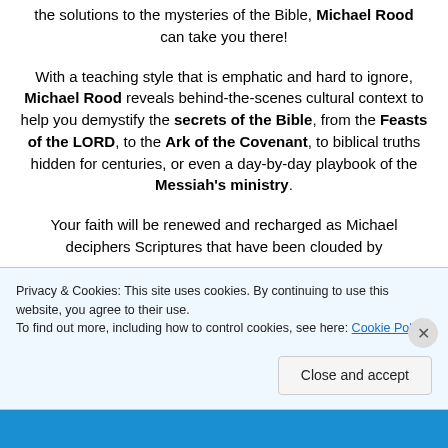the solutions to the mysteries of the Bible, Michael Rood can take you there!
With a teaching style that is emphatic and hard to ignore, Michael Rood reveals behind-the-scenes cultural context to help you demystify the secrets of the Bible, from the Feasts of the LORD, to the Ark of the Covenant, to biblical truths hidden for centuries, or even a day-by-day playbook of the Messiah's ministry.
Your faith will be renewed and recharged as Michael deciphers Scriptures that have been clouded by
Privacy & Cookies: This site uses cookies. By continuing to use this website, you agree to their use. To find out more, including how to control cookies, see here: Cookie Policy
Close and accept